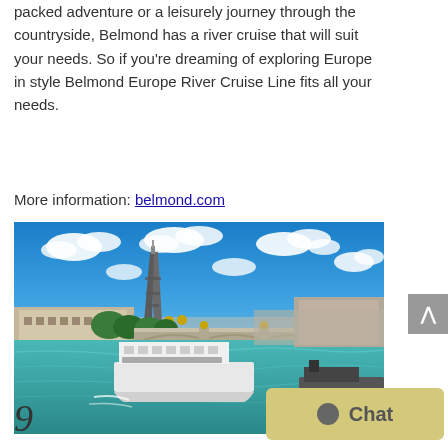packed adventure or a leisurely journey through the countryside, Belmond has a river cruise that will suit your needs. So if you're dreaming of exploring Europe in style Belmond Europe River Cruise Line fits all your needs.
More information: belmond.com
[Figure (photo): Photo of the Seine River in Paris with a boat in the foreground, the Eiffel Tower and bridge visible in the background under a blue sky with clouds]
9
Chat